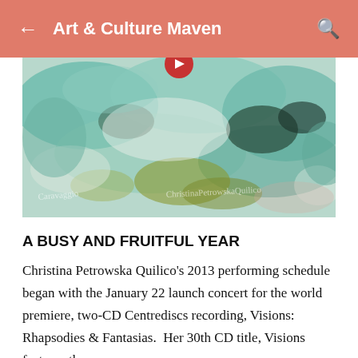Art & Culture Maven
[Figure (photo): Abstract watercolor-style painting in teal, green, and white tones with watermark text reading 'Caravaggio' and 'ChristinaPetrowskaQuilico']
A BUSY AND FRUITFUL YEAR
Christina Petrowska Quilico's 2013 performing schedule began with the January 22 launch concert for the world premiere, two-CD Centrediscs recording, Visions: Rhapsodies & Fantasias.  Her 30th CD title, Visions features the